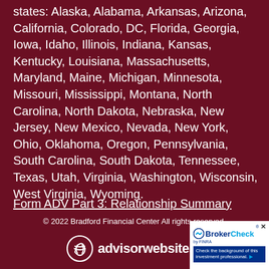states: Alaska, Alabama, Arkansas, Arizona, California, Colorado, DC, Florida, Georgia, Iowa, Idaho, Illinois, Indiana, Kansas, Kentucky, Louisiana, Massachusetts, Maryland, Maine, Michigan, Minnesota, Missouri, Mississippi, Montana, North Carolina, North Dakota, Nebraska, New Jersey, New Mexico, Nevada, New York, Ohio, Oklahoma, Oregon, Pennsylvania, South Carolina, South Dakota, Tennessee, Texas, Utah, Virginia, Washington, Wisconsin, West Virginia, Wyoming.
Form ADV Part 3: Relationship Summary
© 2022 Bradford Financial Center All rights reserved.
[Figure (logo): advisorwebsites logo with circular icon and text]
[Figure (logo): BrokerCheck by FINRA widget with text: Check the background of this investment professional.]